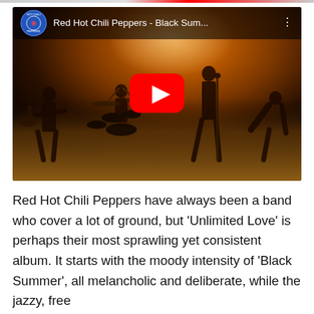[Figure (screenshot): YouTube embedded video player showing Red Hot Chili Peppers - Black Sum... music video. The video thumbnail shows the band performing on a dark stage with a warm amber/orange lighting background. A red YouTube play button is centered on the video. The top bar shows the RHCP circular logo and the title 'Red Hot Chili Peppers - Black Sum...' with a three-dot menu icon.]
Red Hot Chili Peppers have always been a band who cover a lot of ground, but 'Unlimited Love' is perhaps their most sprawling yet consistent album. It starts with the moody intensity of 'Black Summer', all melancholic and deliberate, while the jazzy, free